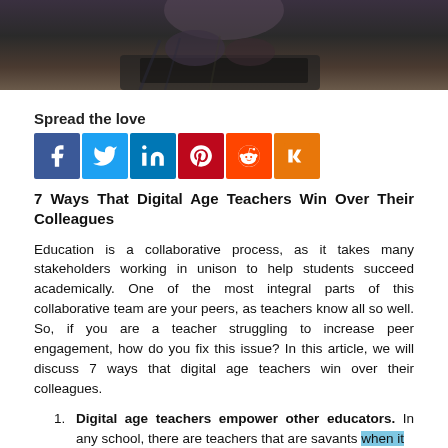[Figure (photo): Partial photo showing a person at a desk with a laptop, dark background, cropped at top of page]
Spread the love
[Figure (infographic): Row of 6 social media sharing buttons: Facebook, Twitter, LinkedIn, Pinterest, Reddit, Mix]
7 Ways That Digital Age Teachers Win Over Their Colleagues
Education is a collaborative process, as it takes many stakeholders working in unison to help students succeed academically. One of the most integral parts of this collaborative team are your peers, as teachers know all so well. So, if you are a teacher struggling to increase peer engagement, how do you fix this issue? In this article, we will discuss 7 ways that digital age teachers win over their colleagues.
Digital age teachers empower other educators. In any school, there are teachers that are savants when it